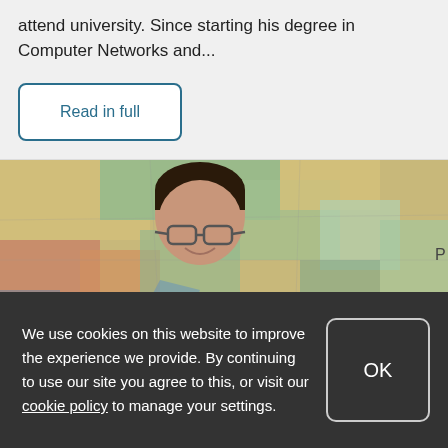attend university. Since starting his degree in Computer Networks and...
Read in full
[Figure (photo): A young man with glasses smiling in front of a large colorful world map on a wall]
We use cookies on this website to improve the experience we provide. By continuing to use our site you agree to this, or visit our cookie policy to manage your settings.
OK